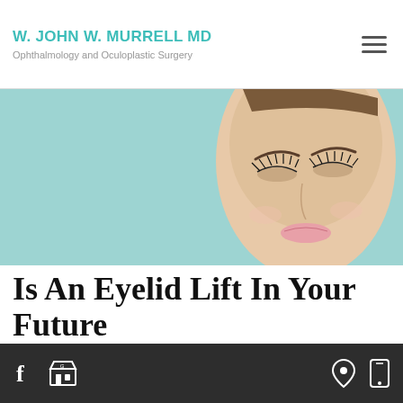W. JOHN W. MURRELL MD
Ophthalmology and Oculoplastic Surgery
[Figure (photo): Close-up of a woman's face with dramatic eye makeup and lashes on a light teal/aqua background, upper half of face visible]
Is An Eyelid Lift In Your Future
Blepharoplasty
[Figure (photo): Partial photo of a woman with dark hair on a light teal background, head cropped]
Sagging
Facebook | Store | Location | Mobile